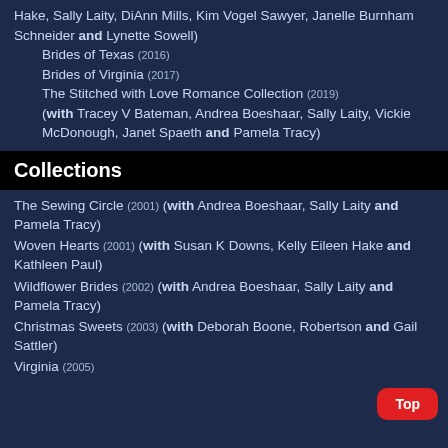Hake, Sally Laity, DiAnn Mills, Kim Vogel Sawyer, Janelle Burnham Schneider and Lynette Sowell)
Brides of Texas (2016)
Brides of Virginia (2017)
The Stitched with Love Romance Collection (2019) (with Tracey V Bateman, Andrea Boeshaar, Sally Laity, Vickie McDonough, Janet Spaeth and Pamela Tracy)
Collections
The Sewing Circle (2001) (with Andrea Boeshaar, Sally Laity and Pamela Tracy)
Woven Hearts (2001) (with Susan K Downs, Kelly Eileen Hake and Kathleen Paul)
Wildflower Brides (2002) (with Andrea Boeshaar, Sally Laity and Pamela Tracy)
Christmas Sweets (2003) (with Deborah Boone, Robertson and Gail Sattler)
Virginia (2005)